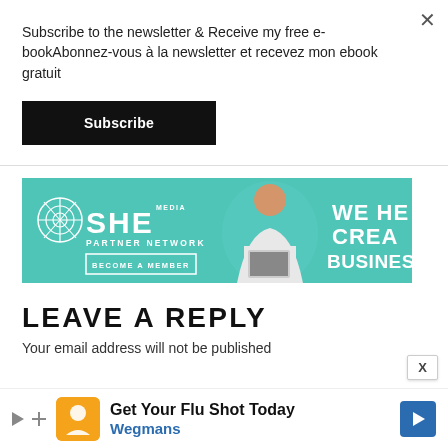Subscribe to the newsletter & Receive my free e-bookAbonnez-vous à la newsletter et recevez mon ebook gratuit
Subscribe
[Figure (illustration): SHE Media Partner Network advertisement banner with teal background, woman holding laptop, and text WE HE CREA BUSINES]
LEAVE A REPLY
Your email address will not be published
[Figure (illustration): Bottom advertisement bar: Get Your Flu Shot Today - Wegmans with orange icon and blue arrow button]